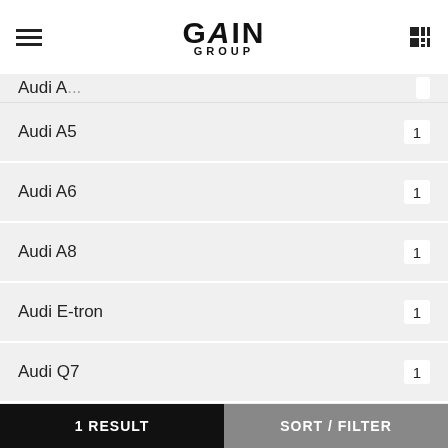GAIN GROUP
Audi A5  1
Audi A6  1
Audi A8  1
Audi E-tron  1
Audi Q7  1
Show me more...
Our stock by city
Audi A4 in British Columbia  2
1 RESULT  SORT / FILTER